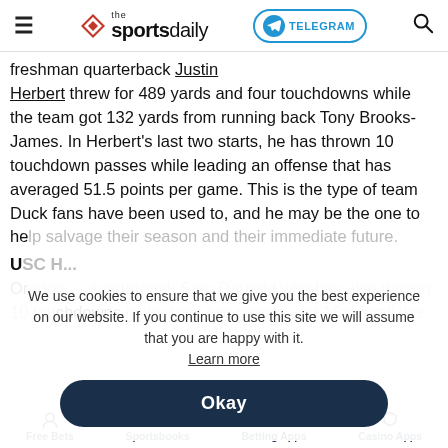the sportsdaily — TELEGRAM — search
freshman quarterback Justin Herbert threw for 489 yards and four touchdowns while the team got 132 yards from running back Tony Brooks-James. In Herbert's last two starts, he has thrown 10 touchdown passes while leading an offense that has averaged 51.5 points per game. This is the type of team Duck fans have been used to, and he may be the one to help salvage their season and their immediate future.
USC H...
Oregon ... quarterback Sam Darnold who has also thrown 10 touchdowns in the past two games and 18 overall this ...
We use cookies to ensure that we give you the best experience on our website. If you continue to use this site we will assume that you are happy with it. Learn more
Okay
Free Bets   Sportsbooks   Betting Apps   Casino Apps